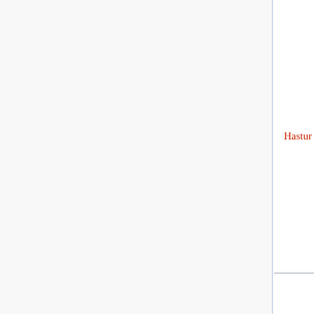|  | Name | Also known as | Description |
| --- | --- | --- | --- |
|  | Hastur | The Unspeakable, He Who is Not to be Named, Lord of Interstellar Spaces | "Tru... rema... mys... said... amo... poss... octo... |
|  | Huitloxopetl | Haunter of Dreams, The Nightmare Walker | ? |
|  | Hzioulquoigmnzhah | — | Has ... sphe... body... elon... arms... legs... pend... like... |